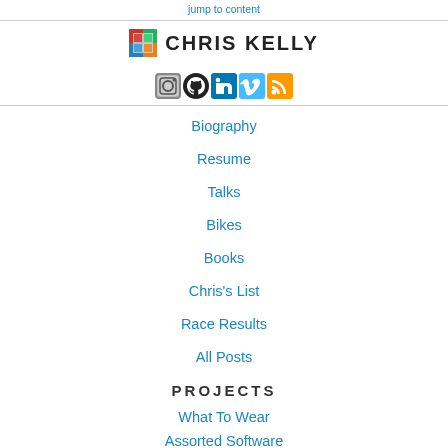jump to content
CHRIS KELLY
[Figure (infographic): Social media icons row: Instagram, GitHub, LinkedIn, Vimeo, RSS feed]
Biography
Resume
Talks
Bikes
Books
Chris's List
Race Results
All Posts
PROJECTS
What To Wear
Assorted Software
Computers
media